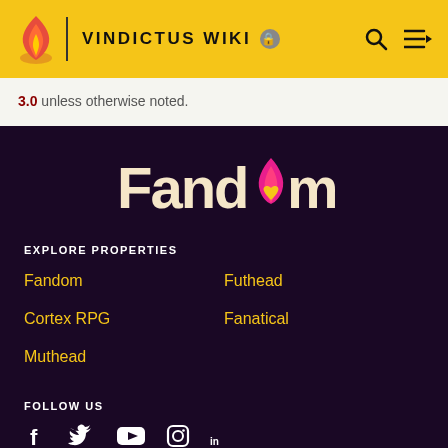VINDICTUS WIKI
3.0 unless otherwise noted.
[Figure (logo): Fandom logo with flame icon — white text 'Fandom' with pink/red flame replacing the 'o', yellow heart inside flame]
EXPLORE PROPERTIES
Fandom
Futhead
Cortex RPG
Fanatical
Muthead
FOLLOW US
[Figure (illustration): Social media icons: Facebook, Twitter, YouTube, Instagram, LinkedIn in white]